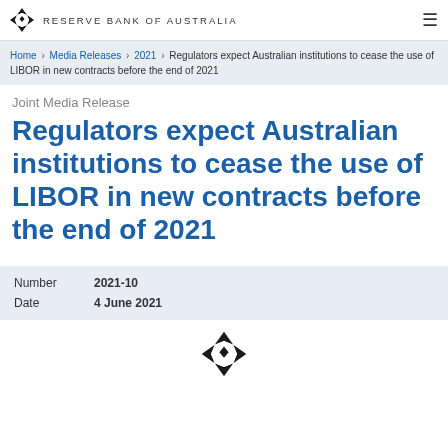RESERVE BANK OF AUSTRALIA
Home › Media Releases › 2021 › Regulators expect Australian institutions to cease the use of LIBOR in new contracts before the end of 2021
Joint Media Release
Regulators expect Australian institutions to cease the use of LIBOR in new contracts before the end of 2021
| Field | Value |
| --- | --- |
| Number | 2021-10 |
| Date | 4 June 2021 |
[Figure (logo): Reserve Bank of Australia logo at bottom of page]